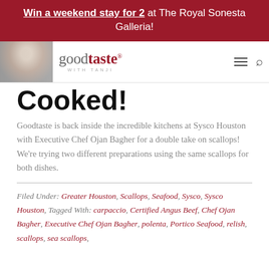Win a weekend stay for 2 at The Royal Sonesta Galleria!
[Figure (screenshot): Goodtaste with Tanji website navigation bar with logo and person photo]
Cooked!
Goodtaste is back inside the incredible kitchens at Sysco Houston with Executive Chef Ojan Bagher for a double take on scallops! We're trying two different preparations using the same scallops for both dishes.
Filed Under: Greater Houston, Scallops, Seafood, Sysco, Sysco Houston, Tagged With: carpaccio, Certified Angus Beef, Chef Ojan Bagher, Executive Chef Ojan Bagher, polenta, Portico Seafood, relish, scallops, sea scallops,